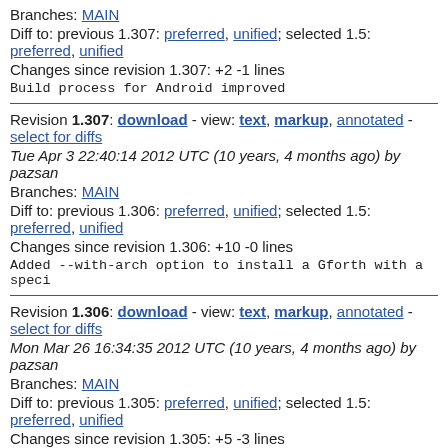Branches: MAIN
Diff to: previous 1.307: preferred, unified; selected 1.5: preferred, unified
Changes since revision 1.307: +2 -1 lines
Build process for Android improved
Revision 1.307: download - view: text, markup, annotated - select for diffs
Tue Apr 3 22:40:14 2012 UTC (10 years, 4 months ago) by pazsan
Branches: MAIN
Diff to: previous 1.306: preferred, unified; selected 1.5: preferred, unified
Changes since revision 1.306: +10 -0 lines
Added --with-arch option to install a Gforth with a speci
Revision 1.306: download - view: text, markup, annotated - select for diffs
Mon Mar 26 16:34:35 2012 UTC (10 years, 4 months ago) by pazsan
Branches: MAIN
Diff to: previous 1.305: preferred, unified; selected 1.5: preferred, unified
Changes since revision 1.305: +5 -3 lines